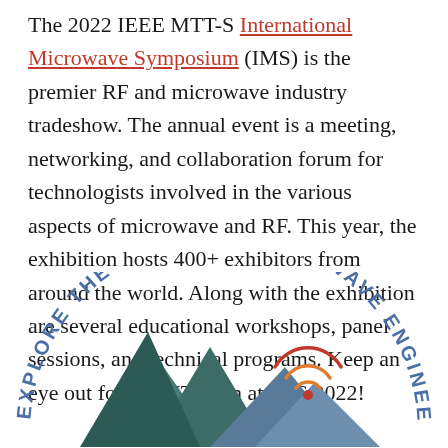The 2022 IEEE MTT-S International Microwave Symposium (IMS) is the premier RF and microwave industry tradeshow. The annual event is a meeting, networking, and collaboration forum for technologists involved in the various aspects of microwave and RF. This year, the exhibition hosts 400+ exhibitors from around the world. Along with the exhibition are several educational workshops, panel sessions, and technical programs. Keep an eye out for the MT team at IMS 2022!
[Figure (logo): Partial circular logo reading 'EXPLORE THE PEAKS OF MICROWAVE ENGINEERING' with stylized mountain peaks in teal/dark gray and wireless signal arcs in orange/red, bottom portion cut off]